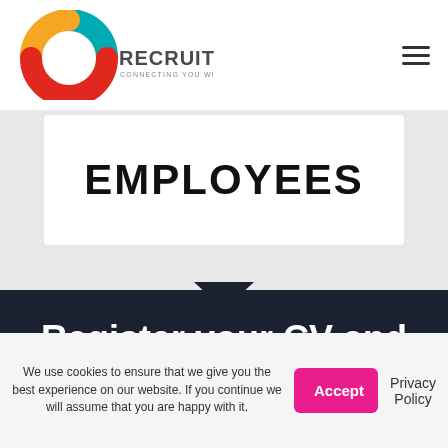[Figure (logo): 2C Recruitment logo with teal, yellow and red circular arrow shapes, and text 'RECRUITMENT CONNECTING YOU WITH TALENT']
EMPLOYEES
Register your CV and
We use cookies to ensure that we give you the best experience on our website. If you continue we will assume that you are happy with it.
Accept
Privacy Policy